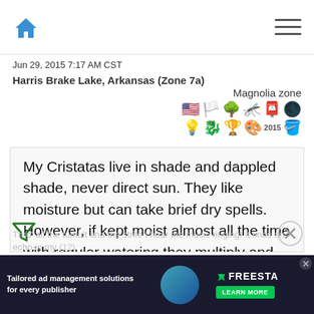Jun 29, 2015 7:17 AM CST   Harris Brake Lake, Arkansas (Zone 7a)
Magnolia zone
My Cristatas live in shade and dappled shade, never direct sun. They like moisture but can take brief dry spells. However, if kept moist almost all the time with regular watering they multiply and bloom better than years when they sit dry for too long. They also like richer soil than beardeds do.
Thro' all the tumult and the strife I hear the music ringing! It finds an echo in my heart (12)
[Figure (infographic): Advertisement banner: Tailored ad management solutions for every publisher — FREESTA with LEARN MORE button]